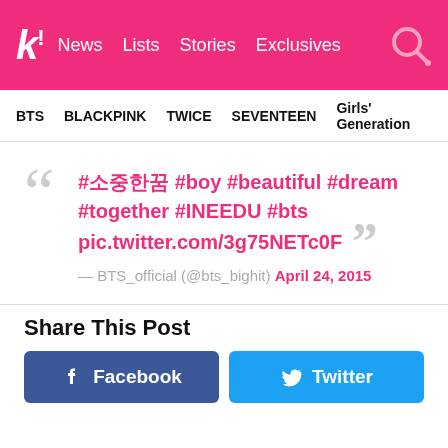Koreaboo — News | Lists | Stories | Exclusives
BTS | BLACKPINK | TWICE | SEVENTEEN | Girls' Generation
#소중한꿈 #boy #beautiful #dream #together #INEEDU #bts pic.twitter.com/3g75NETc0F — BTS_official (@bts_bighit) April 24, 2015
Share This Post
Facebook
Twitter